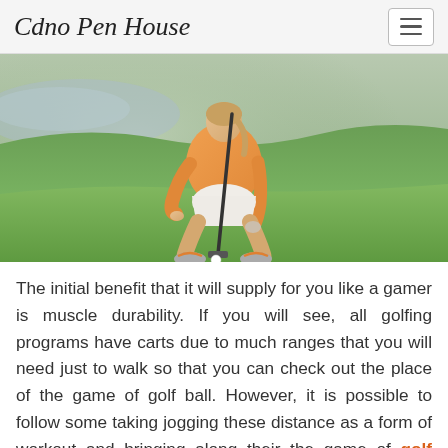Cdno Pen House
[Figure (photo): A woman in an orange top crouching on a golf green, lining up a putt with a golf club, with a golf ball on the green in front of her.]
The initial benefit that it will supply for you like a gamer is muscle durability. If you will see, all golfing programs have carts due to much ranges that you will need just to walk so that you can check out the place of the game of golf ball. However, it is possible to follow some taking jogging these distance as a form of workout and bringing along their the game of golf club sets for